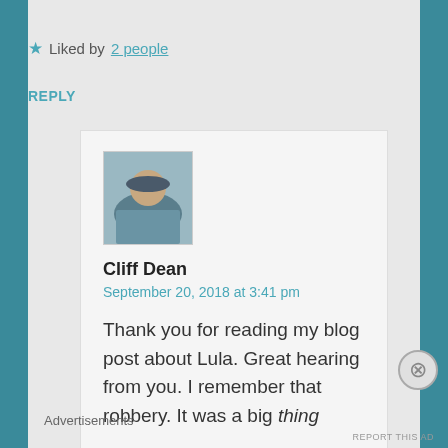★ Liked by 2 people
REPLY
Cliff Dean
September 20, 2018 at 3:41 pm
Thank you for reading my blog post about Lula. Great hearing from you. I remember that robbery. It was a big thing
Advertisements